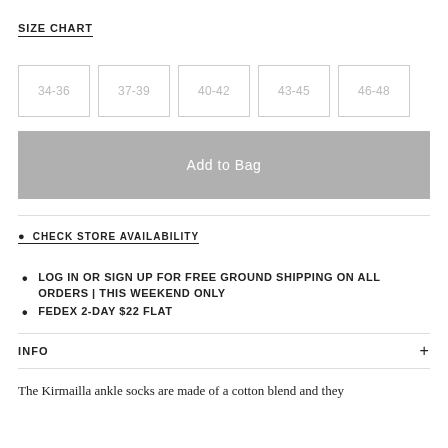SIZE CHART
| 34-36 | 37-39 | 40-42 | 43-45 | 46-48 |
| --- | --- | --- | --- | --- |
Add to Bag
CHECK STORE AVAILABILITY
LOG IN OR SIGN UP FOR FREE GROUND SHIPPING ON ALL ORDERS | THIS WEEKEND ONLY
FEDEX 2-DAY $22 FLAT
INFO
The Kirmailla ankle socks are made of a cotton blend and they